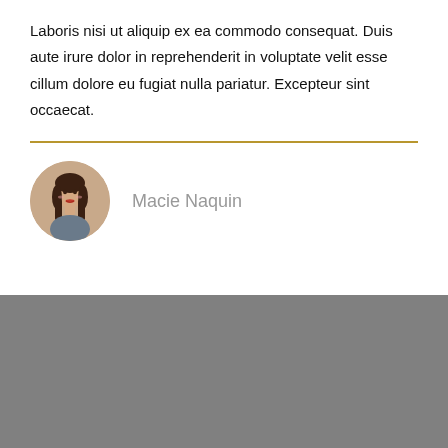Laboris nisi ut aliquip ex ea commodo consequat. Duis aute irure dolor in reprehenderit in voluptate velit esse cillum dolore eu fugiat nulla pariatur. Excepteur sint occaecat.
Macie Naquin
[Figure (photo): Circular headshot photo of Macie Naquin, a woman with long dark hair and a red lip, against a light background.]